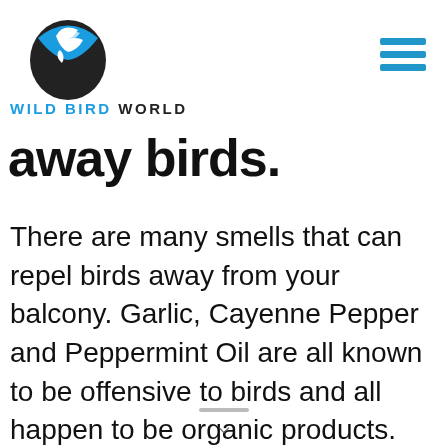WILD BIRD WORLD
away birds.
There are many smells that can repel birds away from your balcony. Garlic, Cayenne Pepper and Peppermint Oil are all known to be offensive to birds and all happen to be organic products. Follow this article to learn more about what smells keep birds away.